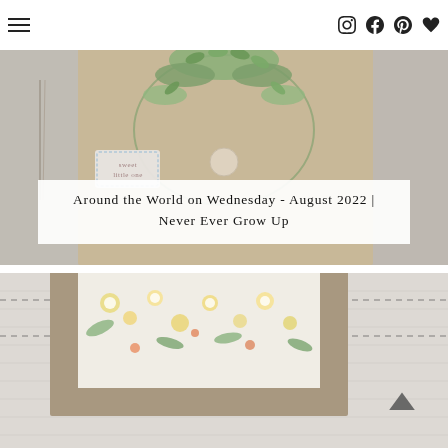Navigation bar with hamburger menu and social icons (Instagram, Facebook, Pinterest, heart/favorite)
[Figure (photo): Craft card photo showing a beige card with green leaf/wreath die-cut embellishments and a stamped tag reading 'sweet little one'. Flanked by partial views of other craft cards on left and right edges.]
Around the World on Wednesday - August 2022 | Never Ever Grow Up
[Figure (photo): Craft/cardmaking photo showing wooden frame-like die cuts on a light grey/white wood-grain background with floral patterned paper visible inside the frames.]